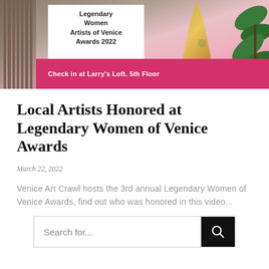[Figure (photo): Event signage for Legendary Women Artists of Venice Awards 2022, with pink banner reading 'Check in at Larry's Loft. 5th Floor', decorative vertical slats on the left, a tropical plant on the right, and a gold statue silhouette in the background.]
Local Artists Honored at Legendary Women of Venice Awards
March 22, 2022
Venice Art Crawl hosts the 3rd annual Legendary Women of Venice Awards, find out who was honored in this video...
Search for...